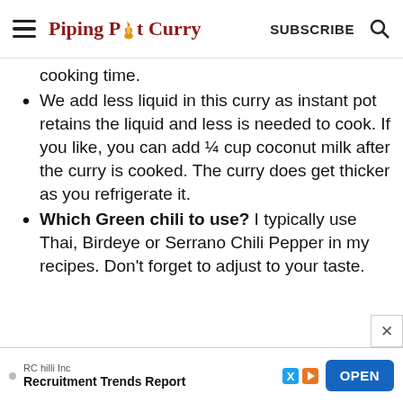Piping Pot Curry | SUBSCRIBE
cooking time.
We add less liquid in this curry as instant pot retains the liquid and less is needed to cook. If you like, you can add ¼ cup coconut milk after the curry is cooked. The curry does get thicker as you refrigerate it.
Which Green chili to use? I typically use Thai, Birdeye or Serrano Chili Pepper in my recipes. Don't forget to adjust to your taste.
[Figure (screenshot): Advertisement banner: RC hilli Inc - Recruitment Trends Report with OPEN button]